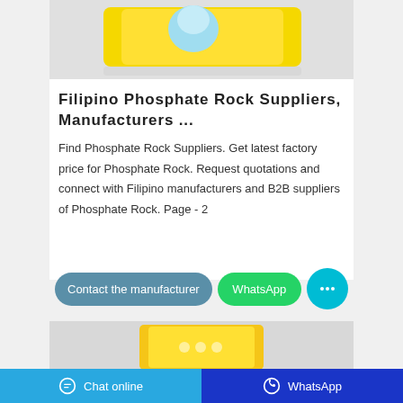[Figure (photo): Product image showing yellow packaged goods (phosphate rock / cleaning product) on a gray background]
Filipino Phosphate Rock Suppliers, Manufacturers ...
Find Phosphate Rock Suppliers. Get latest factory price for Phosphate Rock. Request quotations and connect with Filipino manufacturers and B2B suppliers of Phosphate Rock. Page - 2
[Figure (screenshot): Second product listing image showing yellow packaged product on gray background]
Chat online   WhatsApp